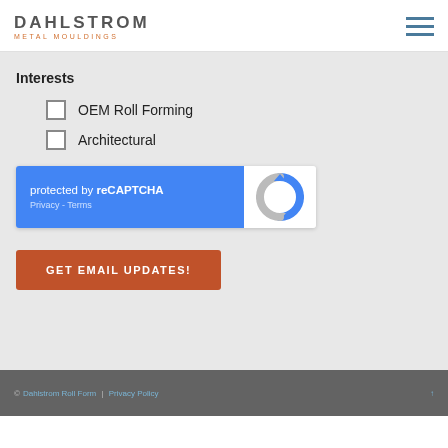[Figure (logo): Dahlstrom Metal Mouldings logo with hamburger menu icon]
Interests
OEM Roll Forming (checkbox unchecked)
Architectural (checkbox unchecked)
[Figure (screenshot): reCAPTCHA widget: protected by reCAPTCHA. Privacy - Terms]
GET EMAIL UPDATES!
© [Dahlstrom Roll Form] | [Privacy Policy] [link]